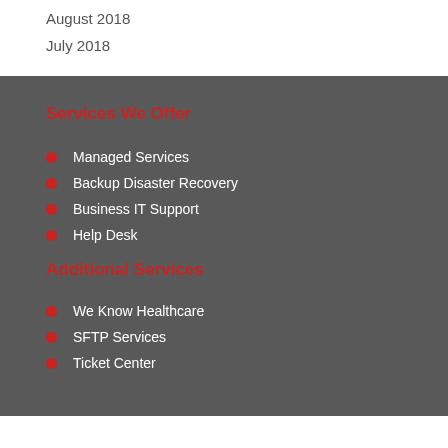August 2018
July 2018
Services We Offer
Managed Services
Backup Disaster Recovery
Business IT Support
Help Desk
Additional Services
We Know Healthcare
SFTP Services
Ticket Center